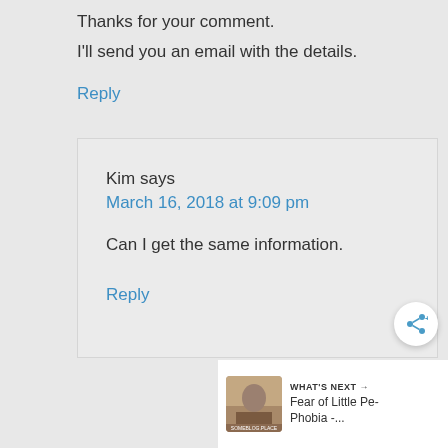Thanks for your comment.
I'll send you an email with the details.
Reply
Kim says
March 16, 2018 at 9:09 pm
Can I get the same information.
Reply